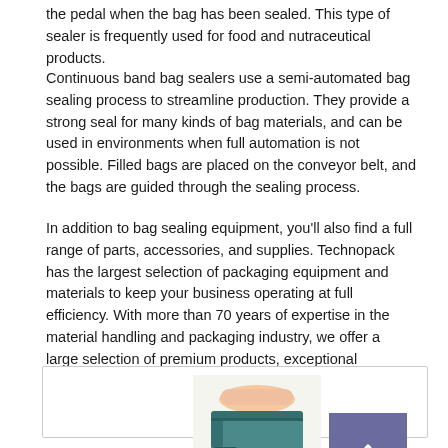the pedal when the bag has been sealed. This type of sealer is frequently used for food and nutraceutical products.
Continuous band bag sealers use a semi-automated bag sealing process to streamline production. They provide a strong seal for many kinds of bag materials, and can be used in environments when full automation is not possible. Filled bags are placed on the conveyor belt, and the bags are guided through the sealing process.
In addition to bag sealing equipment, you'll also find a full range of parts, accessories, and supplies. Technopack has the largest selection of packaging equipment and materials to keep your business operating at full efficiency. With more than 70 years of expertise in the material handling and packaging industry, we offer a large selection of premium products, exceptional technical support, and low prices.
[Figure (photo): Photo of a hand pressing down on a teal/blue manual bag sealer with a bag being sealed, plus a scroll-to-top button (purple square with white chevron up arrow) on the right side within a bordered image container.]